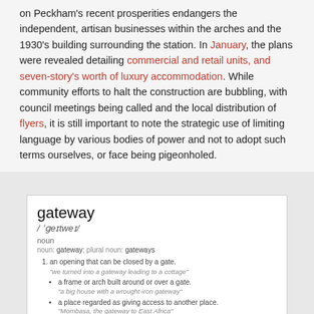on Peckham's recent prosperities endangers the independent, artisan businesses within the arches and the 1930's building surrounding the station. In January, the plans were revealed detailing commercial and retail units, and seven-story's worth of luxury accommodation. While community efforts to halt the construction are bubbling, with council meetings being called and the local distribution of flyers, it is still important to note the strategic use of limiting language by various bodies of power and not to adopt such terms ourselves, or face being pigeonholed.
[Figure (screenshot): Dictionary definition box for the word 'gateway', showing pronunciation /ˈɡeɪtweɪ/, noun, with multiple definitions including: 1. an opening that can be closed by a gate; a frame or arch built around or over a gate; a place regarded as giving access to another place; a means of achieving a state or condition. 2. COMPUTING: a device used to connect two different networks, especially a connection to the internet. Bottom has a 'Translate gateway to: Choose language' bar.]